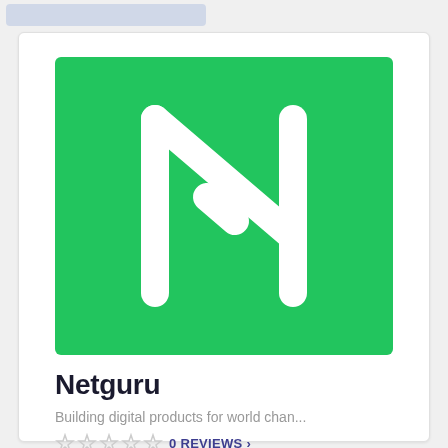[Figure (logo): Netguru logo: white stylized N letterform on a green background square]
Netguru
Building digital products for world chan...
0 REVIEWS >